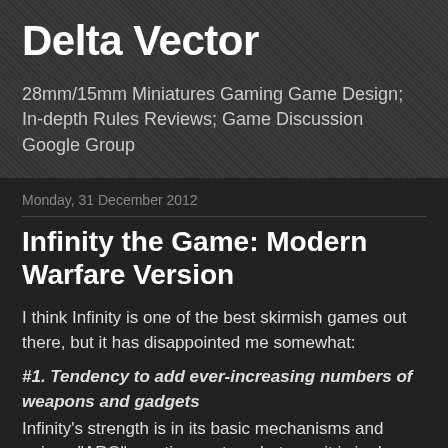Delta Vector
28mm/15mm Miniatures Gaming Game Design; In-depth Rules Reviews; Game Discussion Google Group
Monday, 31 December 2012
Infinity the Game: Modern Warfare Version
I think Infinity is one of the best skirmish games out there, but it has disappointed me somewhat:
#1. Tendency to add ever-increasing numbers of weapons and gadgets
Infinity's strength is in its basic mechanisms and unique "ARO" reaction system, but now it is in danger of getting smothered by trying to react to "special rules" (110+ at last count).